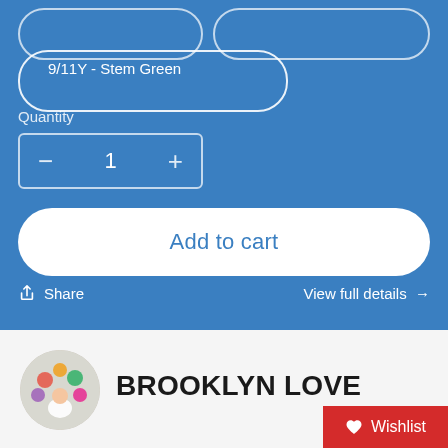[Figure (screenshot): E-commerce product page UI with blue background showing size selector buttons, a selected size '9/11Y - Stem Green', quantity control, Add to cart button, Share and View full details links]
9/11Y - Stem Green
Quantity
1
Add to cart
Share
View full details →
BROOKLYN LOVE
Wishlist